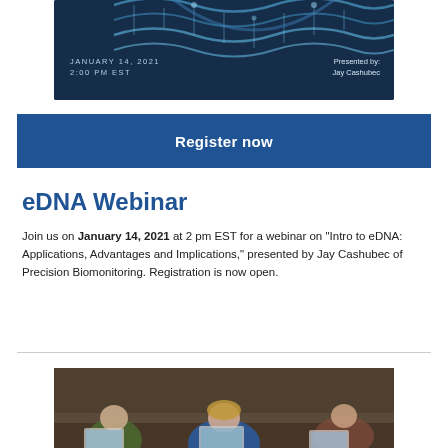[Figure (photo): DNA double helix banner image with dark blue background. Shows date January 14, 2021, 2:00 PM EST on the left and 'Presented by: Jay Cashubec' on the right.]
Register now
eDNA Webinar
Join us on January 14, 2021 at 2 pm EST for a webinar on "Intro to eDNA: Applications, Advantages and Implications," presented by Jay Cashubec of Precision Biomonitoring. Registration is now open.
[Figure (photo): Photo of students or participants working on laptops in a classroom or workshop setting, viewed from behind.]